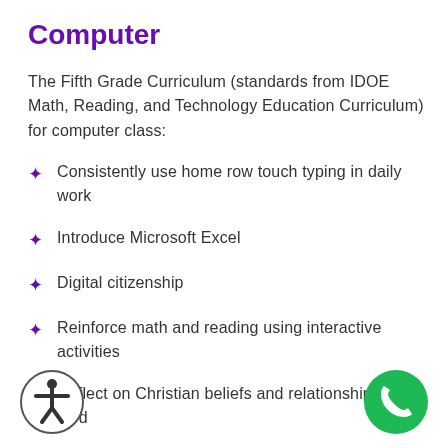Computer
The Fifth Grade Curriculum (standards from IDOE Math, Reading, and Technology Education Curriculum) for computer class:
Consistently use home row touch typing in daily work
Introduce Microsoft Excel
Digital citizenship
Reinforce math and reading using interactive activities
Reflect on Christian beliefs and relationship with God
Introduce Google docs and slides